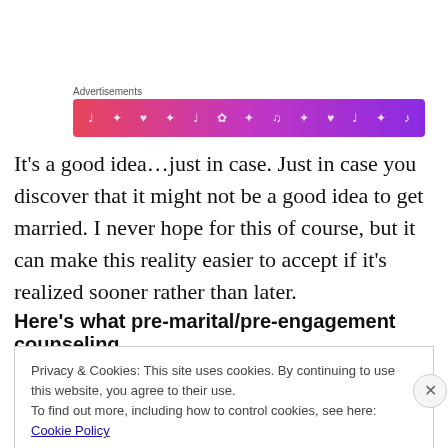[Figure (other): Advertisement banner with gradient background from pink to purple, featuring small white music and heart icons]
It’s a good idea…just in case. Just in case you discover that it might not be a good idea to get married. I never hope for this of course, but it can make this reality easier to accept if it’s realized sooner rather than later.
Here’s what pre-marital/pre-engagement counseling
Privacy & Cookies: This site uses cookies. By continuing to use this website, you agree to their use.
To find out more, including how to control cookies, see here: Cookie Policy